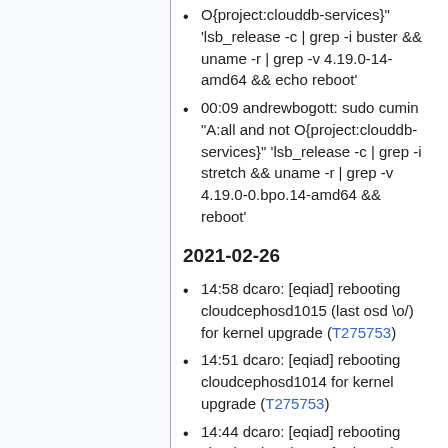O{project:clouddb-services}" 'lsb_release -c | grep -i buster && uname -r | grep -v 4.19.0-14-amd64 && echo reboot'
00:09 andrewbogott: sudo cumin "A:all and not O{project:clouddb-services}" 'lsb_release -c | grep -i stretch && uname -r | grep -v 4.19.0-0.bpo.14-amd64 && reboot'
2021-02-26
14:58 dcaro: [eqiad] rebooting cloudcephosd1015 (last osd \o/) for kernel upgrade (T275753)
14:51 dcaro: [eqiad] rebooting cloudcephosd1014 for kernel upgrade (T275753)
14:44 dcaro: [eqiad] rebooting cloudcephosd1013 for kernel upgrade (T275753)